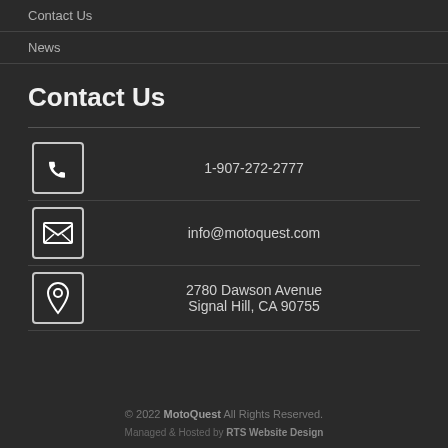Contact Us
News
Contact Us
1-907-272-2777
info@motoquest.com
2780 Dawson Avenue
Signal Hill, CA 90755
© 2022 MotoQuest All Rights Reserved.
Managed & Hosted by RTS Website Design